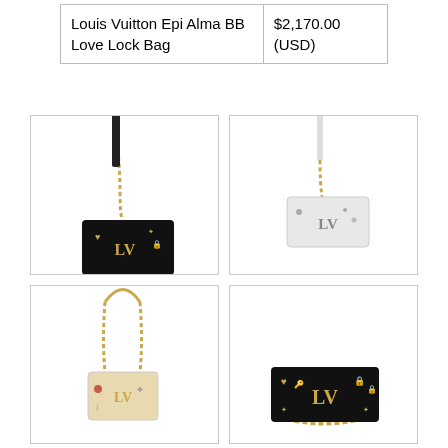| Louis Vuitton Epi Alma BB Love Lock Bag | $2,170.00
(USD) |
[Figure (photo): Black Louis Vuitton Love Lock bag with gold chain strap and LV monogram hardware with heart and lock charms]
[Figure (photo): White/silver Louis Vuitton Love Lock bag with gold chain strap and LV monogram hardware]
[Figure (photo): Cream/beige Louis Vuitton Love Lock bag with gold chain and top handle, LV monogram hardware with charms]
[Figure (photo): Black Louis Vuitton Love Lock wallet/clutch with gold chain, LV monogram hardware with heart, key, lock charms]